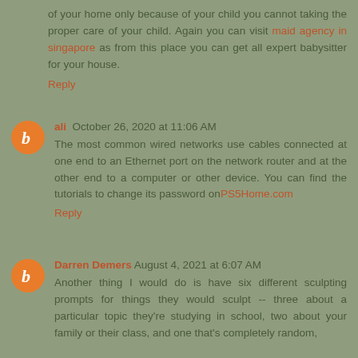of your home only because of your child you cannot taking the proper care of your child. Again you can visit maid agency in singapore as from this place you can get all expert babysitter for your house.
Reply
ali  October 26, 2020 at 11:06 AM
The most common wired networks use cables connected at one end to an Ethernet port on the network router and at the other end to a computer or other device. You can find the tutorials to change its password onPS5Home.com
Reply
Darren Demers  August 4, 2021 at 6:07 AM
Another thing I would do is have six different sculpting prompts for things they would sculpt -- three about a particular topic they're studying in school, two about your family or their class, and one that's completely random, like what the…